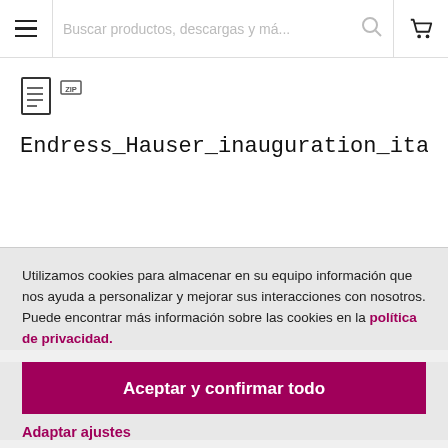[Figure (screenshot): Navigation bar with hamburger menu icon, search placeholder text 'Buscar productos, descargas y má...', search icon, and shopping cart icon]
Endress_Hauser_inauguration_italy_17_0
Utilizamos cookies para almacenar en su equipo información que nos ayuda a personalizar y mejorar sus interacciones con nosotros. Puede encontrar más información sobre las cookies en la política de privacidad.
Aceptar y confirmar todo
Adaptar ajustes